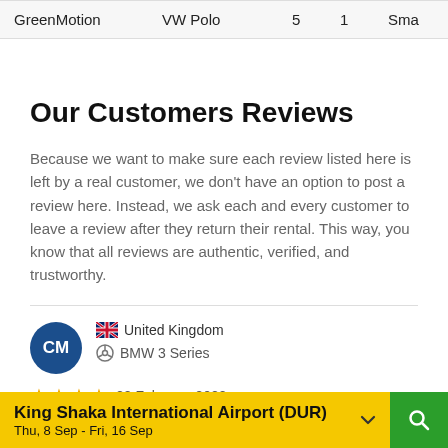| GreenMotion | VW Polo | 5 | 1 | Sma |
| --- | --- | --- | --- | --- |
Our Customers Reviews
Because we want to make sure each review listed here is left by a real customer, we don't have an option to post a review here. Instead, we ask each and every customer to leave a review after they return their rental. This way, you know that all reviews are authentic, verified, and trustworthy.
CM | United Kingdom | BMW 3 Series
★★★★  22 February 2022
Howick Waterfall is great to see, Drakensberg Mountains wonderful, Emdoneni Lodge to see the cat sanctuary, Thonga Beach Lodge for a relaxing
King Shaka International Airport (DUR)  Thu, 8 Sep - Fri, 16 Sep